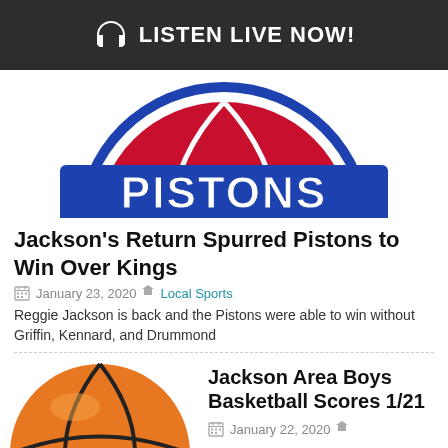🎧 LISTEN LIVE NOW!
[Figure (logo): Detroit Pistons NBA logo — red basketball with blue 'PISTONS' text banner, partially cropped showing bottom half of logo]
Jackson's Return Spurred Pistons to Win Over Kings
January 23, 2020  Local Sports
Reggie Jackson is back and the Pistons were able to win without Griffin, Kennard, and Drummond
[Figure (photo): Close-up photo of an orange basketball with black seams on a white background, cropped to show top portion]
Jackson Area Boys Basketball Scores 1/21
January 22, 2020